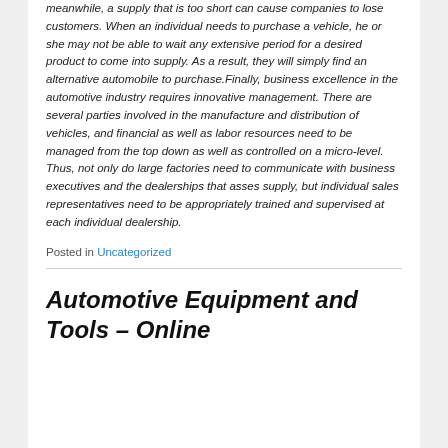meanwhile, a supply that is too short can cause companies to lose customers. When an individual needs to purchase a vehicle, he or she may not be able to wait any extensive period for a desired product to come into supply. As a result, they will simply find an alternative automobile to purchase.Finally, business excellence in the automotive industry requires innovative management. There are several parties involved in the manufacture and distribution of vehicles, and financial as well as labor resources need to be managed from the top down as well as controlled on a micro-level. Thus, not only do large factories need to communicate with business executives and the dealerships that asses supply, but individual sales representatives need to be appropriately trained and supervised at each individual dealership.
Posted in Uncategorized
Automotive Equipment and Tools – Online